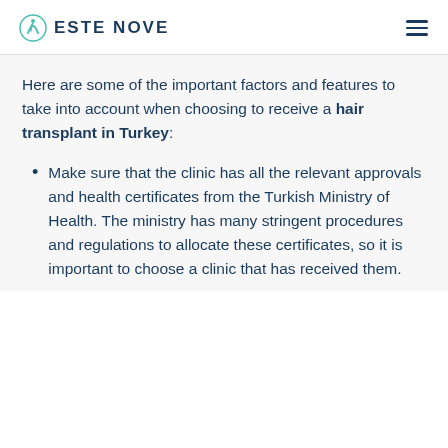ESTE NOVE
Here are some of the important factors and features to take into account when choosing to receive a hair transplant in Turkey:
Make sure that the clinic has all the relevant approvals and health certificates from the Turkish Ministry of Health. The ministry has many stringent procedures and regulations to allocate these certificates, so it is important to choose a clinic that has received them.